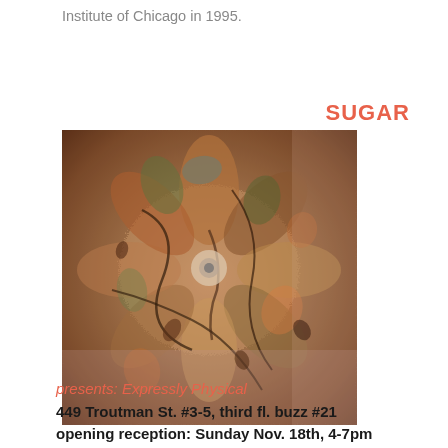Institute of Chicago in 1995.
SUGAR
[Figure (photo): Close-up photograph of a densely textured mixed-media artwork with organic forms in warm browns, pinks, greens, and blacks, resembling flowers or biological structures.]
presents: Expressly Physical
449 Troutman St. #3-5, third fl. buzz #21
opening reception: Sunday Nov. 18th, 4-7pm